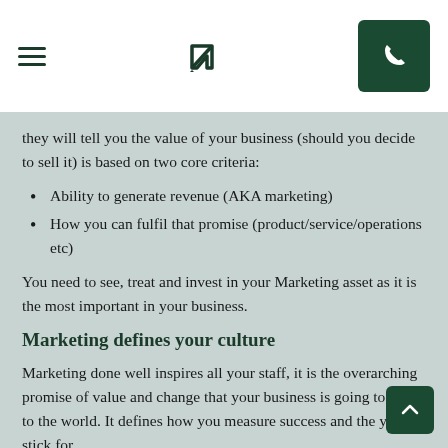[Navigation bar with hamburger menu, logo, and phone button]
they will tell you the value of your business (should you decide to sell it) is based on two core criteria:
Ability to generate revenue (AKA marketing)
How you can fulfil that promise (product/service/operations etc)
You need to see, treat and invest in your Marketing asset as it is the most important in your business.
Marketing defines your culture
Marketing done well inspires all your staff, it is the overarching promise of value and change that your business is going to make to the world. It defines how you measure success and the yard stick for